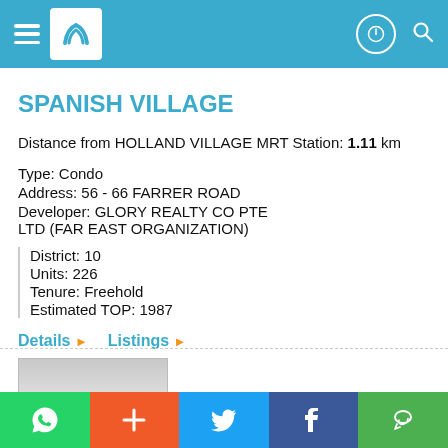Navigation header with logo, hamburger menu, phone icon, and search icon
SPANISH VILLAGE
Distance from HOLLAND VILLAGE MRT Station: 1.11 km
Type: Condo
Address: 56 - 66 FARRER ROAD
Developer: GLORY REALTY CO PTE LTD (FAR EAST ORGANIZATION)
District: 10
Units: 226
Tenure: Freehold
Estimated TOP: 1987
Details ▶   Listings ▶
[Figure (photo): Property thumbnail image showing a house silhouette on grey background]
WhatsApp | + | Twitter | Facebook | WeChat